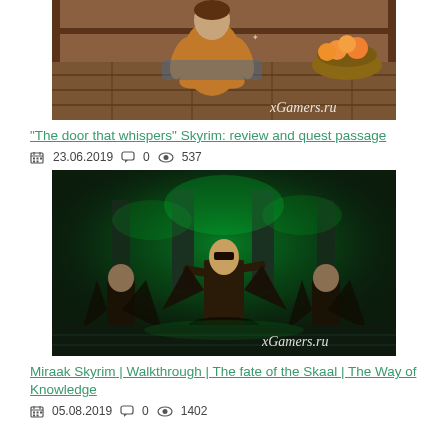[Figure (screenshot): Screenshot from Skyrim game showing a character (child) sitting on a wooden floor indoors, with a bowl of fruit in the background. Watermark: xGamers.ru in bottom right.]
"The door that whispers" Skyrim: review and quest passage
23.06.2019   0   537
[Figure (screenshot): Screenshot from Skyrim game showing Miraak standing in a green glowing environment with dragon priests around him. Watermark: xGamers.ru in bottom right.]
Miraak Skyrim | Walkthrough | The fate of the Skaal | The Way of Knowledge
05.08.2019   0   1402